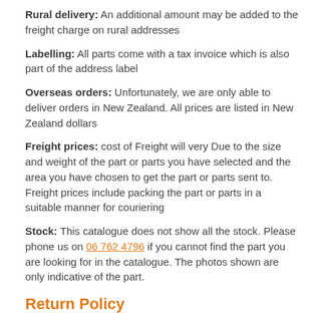Rural delivery: An additional amount may be added to the freight charge on rural addresses
Labelling: All parts come with a tax invoice which is also part of the address label
Overseas orders: Unfortunately, we are only able to deliver orders in New Zealand. All prices are listed in New Zealand dollars
Freight prices: cost of Freight will very Due to the size and weight of the part or parts you have selected and the area you have chosen to get the part or parts sent to. Freight prices include packing the part or parts in a suitable manner for couriering
Stock: This catalogue does not show all the stock. Please phone us on 06 762 4796 if you cannot find the part you are looking for in the catalogue. The photos shown are only indicative of the part.
Return Policy